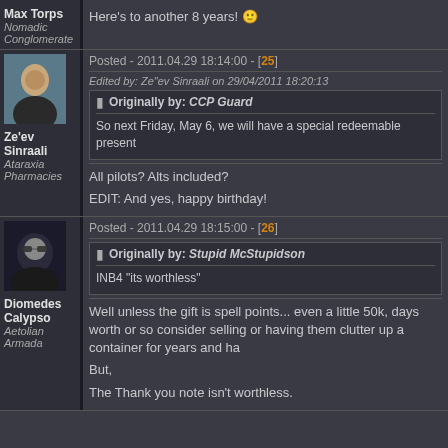Max Torps
Nomadic Conglomerate
Here's to another 8 years!
Posted - 2011.04.29 18:14:00 - [25]
Edited by: Ze"ev Sinraali on 29/04/2011 18:20:13
Originally by: CCP Guard
So next Friday, May 6, we will have a special redeemable present
Ze'ev Sinraali
Ataraxia Pharmacies
All pilots? Alts included?
EDIT: And yes, happy birthday!
Posted - 2011.04.29 18:15:00 - [26]
Originally by: Stupid McStupidson
INB4 "its worthless"
Diomedes Calypso
Aetolian Armada
Well unless the gift is spell points... even a little 50k, days worth or so consider selling or having them clutter up a container for years and ha
But,
The Thank you note isn't worthless.